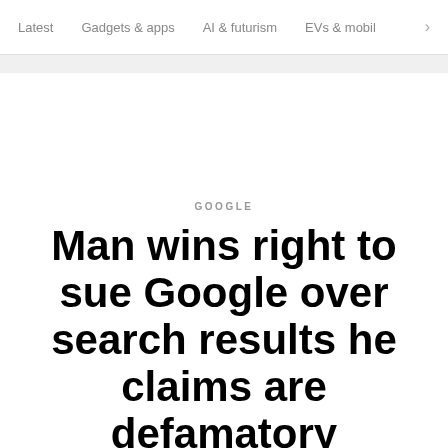Latest  Gadgets & apps  AI & futurism  EVs & mobil  >
GOOGLE
Man wins right to sue Google over search results he claims are defamatory